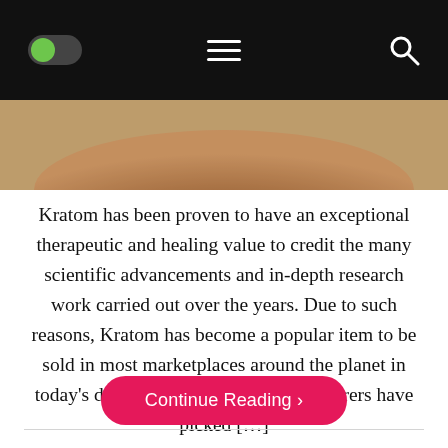[Navigation bar with toggle, hamburger menu, and search icon]
[Figure (photo): Close-up photo of a wooden bowl or container, warm brown tones, viewed from above.]
Kratom has been proven to have an exceptional therapeutic and healing value to credit the many scientific advancements and in-depth research work carried out over the years. Due to such reasons, Kratom has become a popular item to be sold in most marketplaces around the planet in today’s day and age. Several manufacturers have picked […]
Continue Reading ›